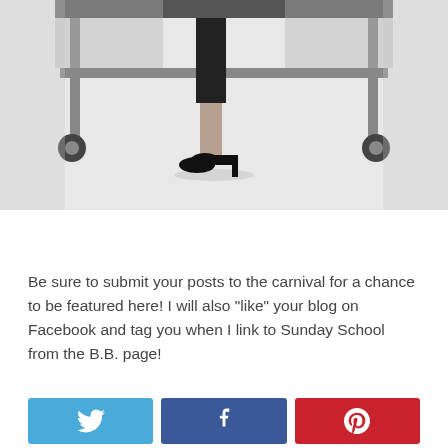[Figure (photo): Black and white photo showing the lower half of a person standing at a wheeled cart or stand, wearing black trousers and high-heeled shoes]
Be sure to submit your posts to the carnival for a chance to be featured here! I will also "like" your blog on Facebook and tag you when I link to Sunday School from the B.B. page!